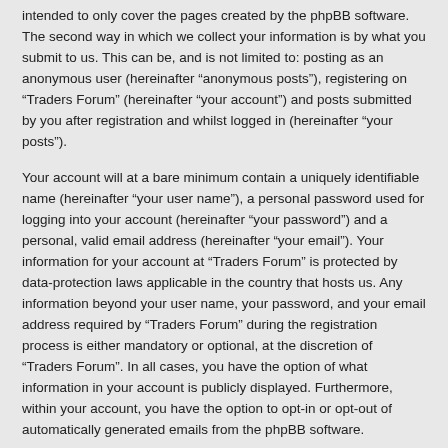intended to only cover the pages created by the phpBB software. The second way in which we collect your information is by what you submit to us. This can be, and is not limited to: posting as an anonymous user (hereinafter “anonymous posts”), registering on “Traders Forum” (hereinafter “your account”) and posts submitted by you after registration and whilst logged in (hereinafter “your posts”).
Your account will at a bare minimum contain a uniquely identifiable name (hereinafter “your user name”), a personal password used for logging into your account (hereinafter “your password”) and a personal, valid email address (hereinafter “your email”). Your information for your account at “Traders Forum” is protected by data-protection laws applicable in the country that hosts us. Any information beyond your user name, your password, and your email address required by “Traders Forum” during the registration process is either mandatory or optional, at the discretion of “Traders Forum”. In all cases, you have the option of what information in your account is publicly displayed. Furthermore, within your account, you have the option to opt-in or opt-out of automatically generated emails from the phpBB software.
Your password is ciphered (a one-way hash) so that it is secure. However, it is recommended that you do not reuse the same password across a number of different websites. Your password is the means of accessing your account at “Traders Forum”, so please guard it carefully and under no circumstance will anyone affiliated with “Traders Forum”, phpBB or another 3rd party, legitimately ask you for your password. Should you forget your password for your account, you can use the “I forgot my password” feature provided by the phpBB software. This process will ask you to submit your user name and your email, then the